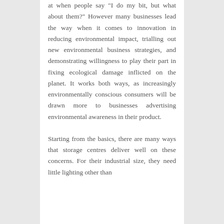at when people say "I do my bit, but what about them?" However many businesses lead the way when it comes to innovation in reducing environmental impact, trialling out new environmental business strategies, and demonstrating willingness to play their part in fixing ecological damage inflicted on the planet. It works both ways, as increasingly environmentally conscious consumers will be drawn more to businesses advertising environmental awareness in their product.
Starting from the basics, there are many ways that storage centres deliver well on these concerns. For their industrial size, they need little lighting other than